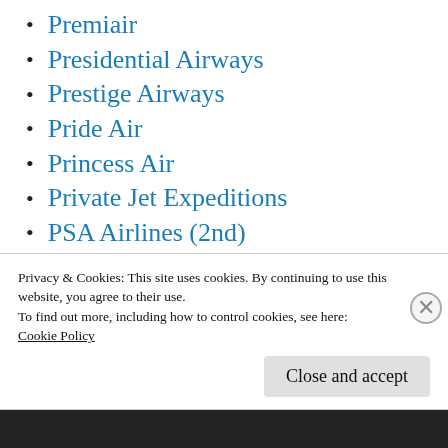Premiair
Presidential Airways
Prestige Airways
Pride Air
Princess Air
Private Jet Expeditions
PSA Airlines (2nd)
PSA-Pacific Southwest Airlines
Pulkovo Aviation
Purdue Airlines
QANTAS Airways
Privacy & Cookies: This site uses cookies. By continuing to use this website, you agree to their use.
To find out more, including how to control cookies, see here: Cookie Policy
Close and accept